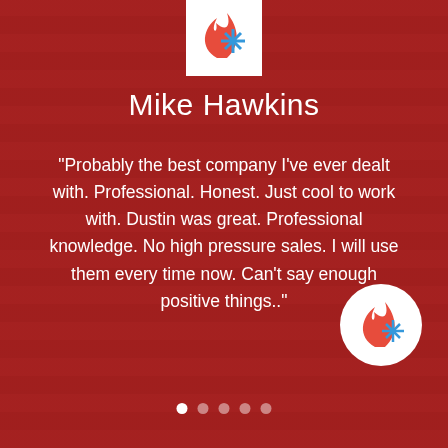[Figure (logo): HVAC company logo — flame and snowflake icons on white background, top center]
Mike Hawkins
“Probably the best company I’ve ever dealt with. Professional. Honest. Just cool to work with. Dustin was great. Professional knowledge. No high pressure sales. I will use them every time now. Can’t say enough positive things..”
[Figure (logo): HVAC company logo — flame and snowflake icons on white circular background, bottom right]
[Figure (other): Carousel navigation dots — five dots, first one active (white), rest semi-transparent]